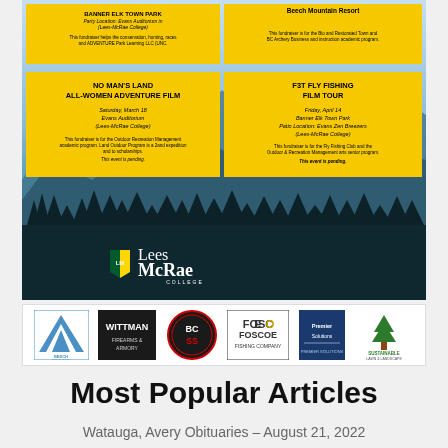[Figure (infographic): Lees-McRae College outdoor film series promotional poster with mountain background, yellow event cards, and sponsor logos. Events include No Man's Land All-Women Adventure Film (Saturday March 18, Evans Auditorium, Lees-McRae College) and F3T Fly Fishing Film Tour (Friday April 14, Banner Elk Town Park, Patio Location: Evans Zen Breezers, Lees-McRae College). Sponsors include Beech Mountain Resort, Wittman, BCSS, Foscoe Fishing Company, Premier Solutions, Sustainable Lawn & Landscape.]
Most Popular Articles
Watauga, Avery Obituaries – August 21, 2022